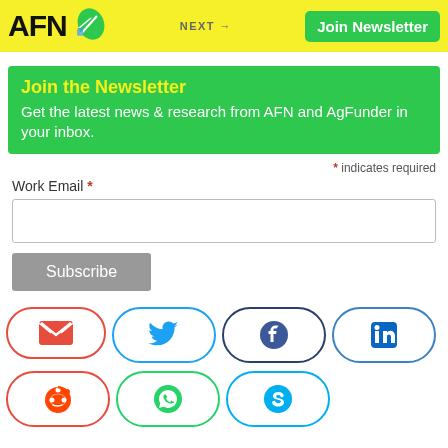AFN | NEXT → | Join Newsletter
Join the Newsletter
Get the latest news & research from AFN and AgFunder in your inbox.
* indicates required
Work Email *
[Figure (infographic): Social share buttons: Email (red), Twitter (blue), Facebook (dark blue), LinkedIn (blue), Reddit (red/orange), WhatsApp (green), Skype (light blue)]